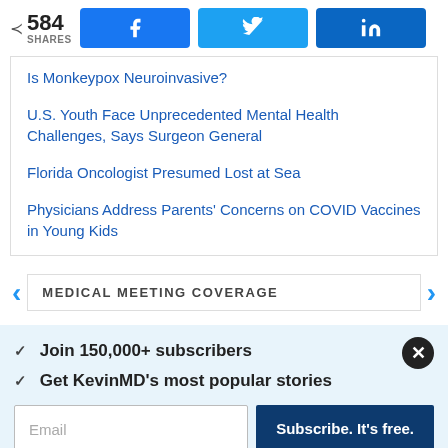< 584 SHARES | f | t | in
Is Monkeypox Neuroinvasive?
U.S. Youth Face Unprecedented Mental Health Challenges, Says Surgeon General
Florida Oncologist Presumed Lost at Sea
Physicians Address Parents' Concerns on COVID Vaccines in Young Kids
MEDICAL MEETING COVERAGE
✓  Join 150,000+ subscribers
✓  Get KevinMD's most popular stories
Email | Subscribe. It's free.